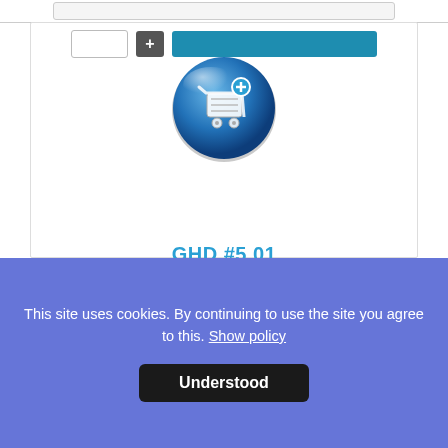[Figure (illustration): Blue circular shopping cart icon with metallic/glossy appearance]
[Figure (other): 4 out of 5 star rating shown with gold stars and one empty star; toggle switch showing green/active state]
GHD #5 01
Base price for variant: 50,00 €
Sales price: 60,00 €
Sales price without tax: 50,00 €
Tax amount: 10,00 €
This site uses cookies. By continuing to use the site you agree to this. Show policy
Understood